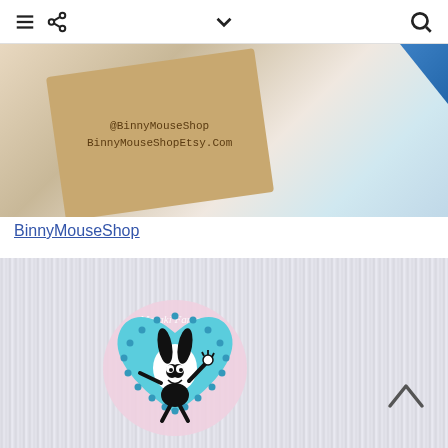Navigation bar with menu, share, dropdown, and search icons
[Figure (photo): Close-up photo of a kraft cardboard pin backing card with text '@BinnyMouseShop' and 'BinnyMouseShopEtsy.com' stamped on it, with a blue enamel pin visible at top right corner, on a white sparkly background]
BinnyMouseShop
[Figure (photo): Photo of an enamel pin featuring Oswald the Lucky Rabbit character on a blue heart-shaped background with blue gem border, displayed on a pink card labeled 'Meraki Fantasy', placed on white fluffy fur background]